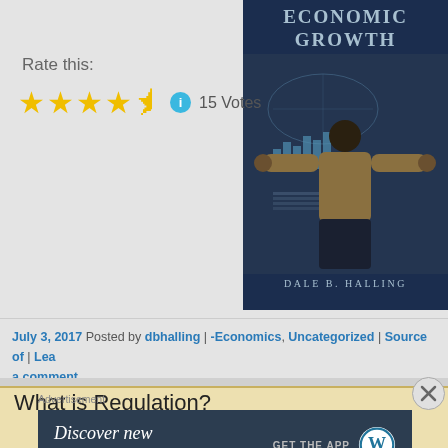[Figure (illustration): Book cover for 'Economic Growth' by Dale B. Halling, showing a person viewed from behind touching a digital screen with charts and world maps]
Rate this:
[Figure (infographic): 4.5 out of 5 stars rating with info icon and '15 Votes' text]
July 3, 2017 Posted by dbhalling | -Economics, Uncategorized | Source of | Leave a comment
What is Regulation?
Advertisement
[Figure (infographic): WordPress app advertisement: 'Discover new reads on the go.' with GET THE APP button and WordPress logo]